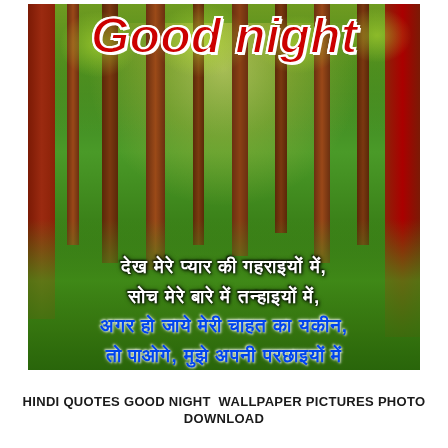[Figure (photo): Forest scene with tall tree trunks (some with reddish-brown bark), green foliage and yellow-green leaves, sunlight filtering through. Overlaid with 'Good night' in large red italic bold text at top, and Hindi poetry lines in white and blue bold text at bottom of the image.]
HINDI QUOTES GOOD NIGHT  WALLPAPER PICTURES PHOTO
DOWNLOAD